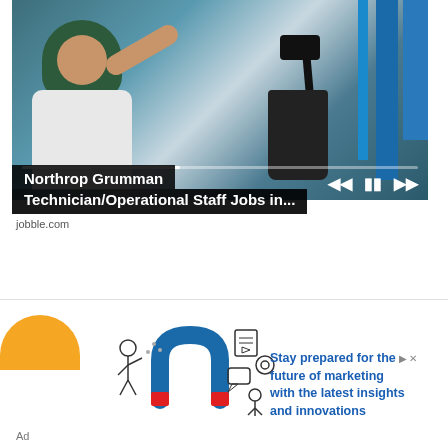[Figure (photo): Laboratory photo: person wearing green hijab and white lab coat adjusting a microscope, with blue vertical bars/columns in background. Video player controls and progress bar overlay at the bottom of the image.]
Northrop Grumman Technician/Operational Staff Jobs in...
jobble.com
[Figure (illustration): Orange semicircle icon with two horizontal white lines (list icon), and line-art illustration of a blue horseshoe magnet attracting figures/icons related to marketing]
Stay prepared for the future of marketing with the latest insights and innovations
Ad